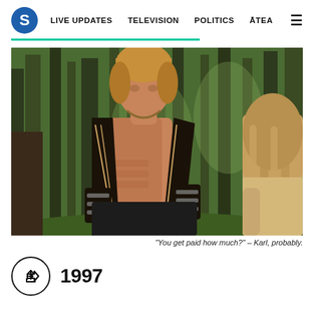S  LIVE UPDATES  TELEVISION  POLITICS  ĀTEA  ≡
[Figure (photo): Movie still showing a muscular shirtless blond man in a fantasy warrior costume with leather bracers and woven top, standing in a forest setting facing a woman with long brown hair seen from behind.]
"You get paid how much?" – Karl, probably.
1997